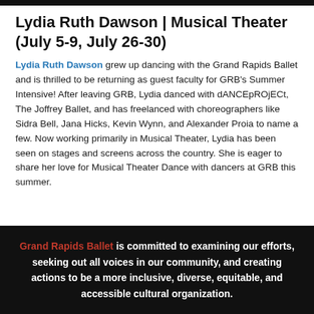Lydia Ruth Dawson | Musical Theater (July 5-9, July 26-30)
Lydia Ruth Dawson grew up dancing with the Grand Rapids Ballet and is thrilled to be returning as guest faculty for GRB's Summer Intensive! After leaving GRB, Lydia danced with dANCEpROjECt, The Joffrey Ballet, and has freelanced with choreographers like Sidra Bell, Jana Hicks, Kevin Wynn, and Alexander Proia to name a few. Now working primarily in Musical Theater, Lydia has been seen on stages and screens across the country. She is eager to share her love for Musical Theater Dance with dancers at GRB this summer.
Grand Rapids Ballet is committed to examining our efforts, seeking out all voices in our community, and creating actions to be a more inclusive, diverse, equitable, and accessible cultural organization.